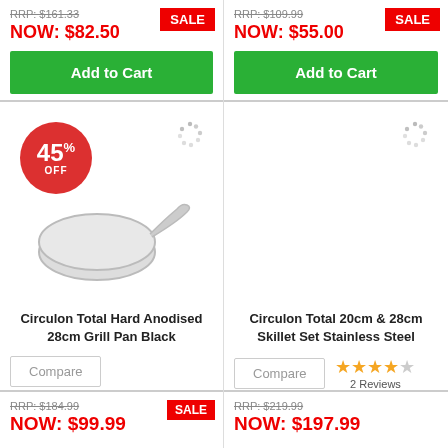NOW: $82.50
SALE
Add to Cart
NOW: $55.00
SALE
Add to Cart
[Figure (illustration): 45% OFF badge and frying pan product image with loading spinner]
Circulon Total Hard Anodised 28cm Grill Pan Black
Compare
[Figure (illustration): Product image placeholder with loading spinner]
Circulon Total 20cm & 28cm Skillet Set Stainless Steel
Compare
2 Reviews
RRP: $184.99
NOW: $99.99
SALE
RRP: $219.99
NOW: $197.99